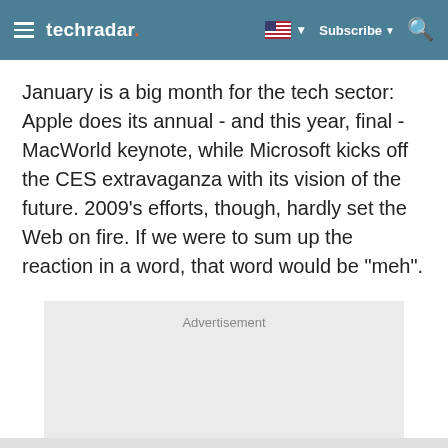techradar  Subscribe
January is a big month for the tech sector: Apple does its annual - and this year, final - MacWorld keynote, while Microsoft kicks off the CES extravaganza with its vision of the future. 2009's efforts, though, hardly set the Web on fire. If we were to sum up the reaction in a word, that word would be "meh".
[Figure (other): Advertisement placeholder box with light grey background and 'Advertisement' label text]